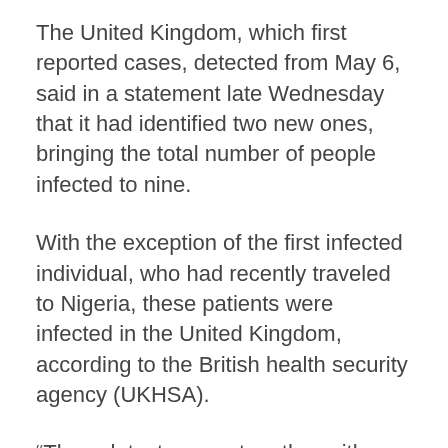The United Kingdom, which first reported cases, detected from May 6, said in a statement late Wednesday that it had identified two new ones, bringing the total number of people infected to nine.
With the exception of the first infected individual, who had recently traveled to Nigeria, these patients were infected in the United Kingdom, according to the British health security agency (UKHSA).
“These latest cases, together with reports of cases in various European countries, confirm what we initially feared that there may be transmission of monkeypox within our communities,” explained the Dr Susan